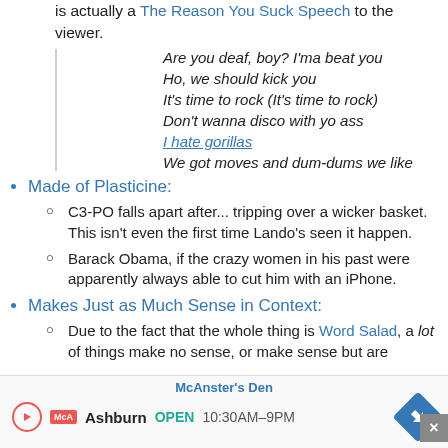is actually a "The Reason You Suck" Speech to the viewer.
Are you deaf, boy? I'ma beat you
Ho, we should kick you
It's time to rock (It's time to rock)
Don't wanna disco with yo ass
I hate gorillas
We got moves and dum-dums we like
Made of Plasticine:
C3-PO falls apart after... tripping over a wicker basket. This isn't even the first time Lando's seen it happen.
Barack Obama, if the crazy women in his past were apparently always able to cut him with an iPhone.
Makes Just as Much Sense in Context:
Due to the fact that the whole thing is Word Salad, a lot of things make no sense, or make sense but are
[Figure (screenshot): McAnster's Den advertisement banner showing play button, McA logo, Ashburn OPEN 10:30AM-9PM, navigation arrow, and close button]